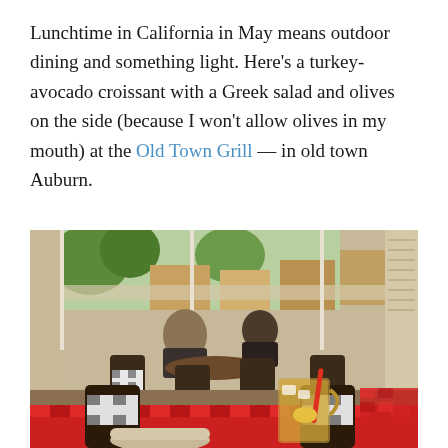Lunchtime in California in May means outdoor dining and something light. Here's a turkey-avocado croissant with a Greek salad and olives on the side (because I won't allow olives in my mouth) at the Old Town Grill — in old town Auburn.
[Figure (photo): Indoor/outdoor patio dining area at Old Town Grill in Auburn, CA. View from a table with a red and white checkered tablecloth, dark wooden chairs with black and white checkered cushions. A glass mug with iced tea and a red straw sits on the table. Background shows other diners seated, large windows overlooking old town Auburn streetscape with trees and brick buildings.]